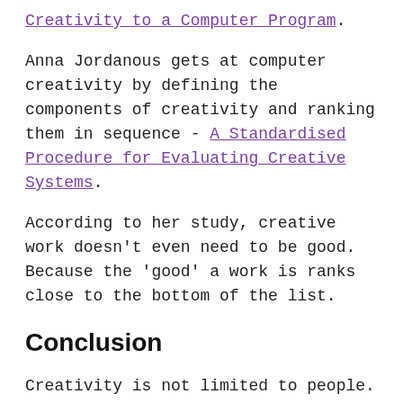Creativity to a Computer Program. Anna Jordanous gets at computer creativity by defining the components of creativity and ranking them in sequence - A Standardised Procedure for Evaluating Creative Systems.
According to her study, creative work doesn't even need to be good. Because the 'good' a work is ranks close to the bottom of the list.
Conclusion
Creativity is not limited to people.